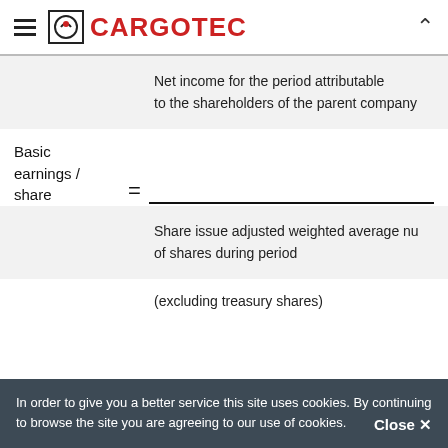CARGOTEC
(excluding treasury shares)
In order to give you a better service this site uses cookies. By continuing to browse the site you are agreeing to our use of cookies. Close ×